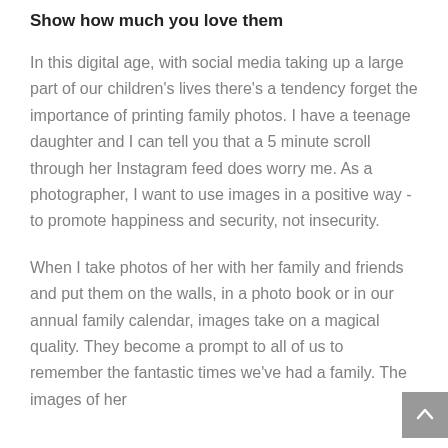Show how much you love them
In this digital age, with social media taking up a large part of our children's lives there's a tendency forget the importance of printing family photos. I have a teenage daughter and I can tell you that a 5 minute scroll through her Instagram feed does worry me. As a photographer, I want to use images in a positive way - to promote happiness and security, not insecurity.
When I take photos of her with her family and friends and put them on the walls, in a photo book or in our annual family calendar, images take on a magical quality. They become a prompt to all of us to remember the fantastic times we've had a family. The images of her